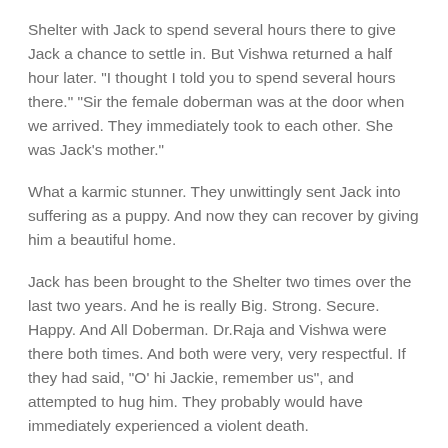Shelter with Jack to spend several hours there to give Jack a chance to settle in. But Vishwa returned a half hour later. "I thought I told you to spend several hours there." "Sir the female doberman was at the door when we arrived. They immediately took to each other. She was Jack's mother."
What a karmic stunner. They unwittingly sent Jack into suffering as a puppy. And now they can recover by giving him a beautiful home.
Jack has been brought to the Shelter two times over the last two years. And he is really Big. Strong. Secure. Happy. And All Doberman. Dr.Raja and Vishwa were there both times. And both were very, very respectful. If they had said, "O' hi Jackie, remember us", and attempted to hug him. They probably would have immediately experienced a violent death.
The Story of Sugar – Born to be Wild.